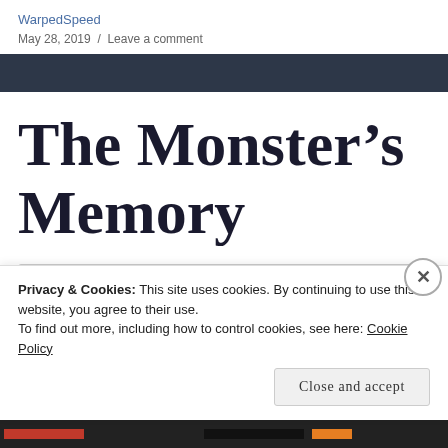WarpedSpeed
May 28, 2019 / Leave a comment
The Monster's Memory
Select Month
Privacy & Cookies: This site uses cookies. By continuing to use this website, you agree to their use.
To find out more, including how to control cookies, see here: Cookie Policy
Close and accept